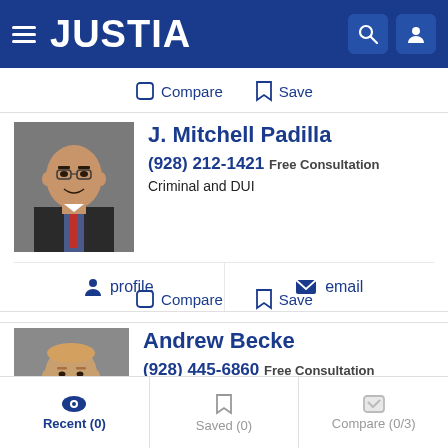JUSTIA
Compare  Save
J. Mitchell Padilla
(928) 212-1421 Free Consultation
Criminal and DUI
profile  email
Compare  Save
Andrew Becke
(928) 445-6860 Free Consultation
Appeals, Insurance Claims, Insurance Defense and Persona...
Recent (0)  Saved (0)  Compare (0/3)